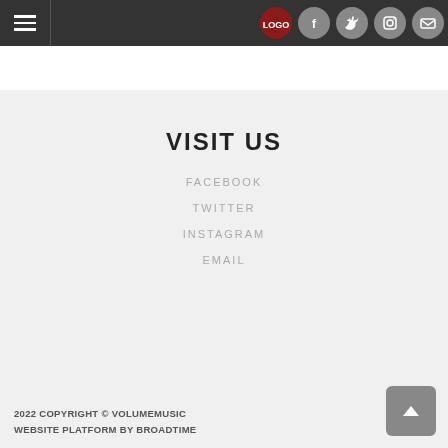Navigation menu and social icons header bar
VISIT US
FACEBOOK
TWITTER
INSTAGRAM
EMAIL
2022 COPYRIGHT © VOLUMEMUSIC
WEBSITE PLATFORM BY BROADTIME